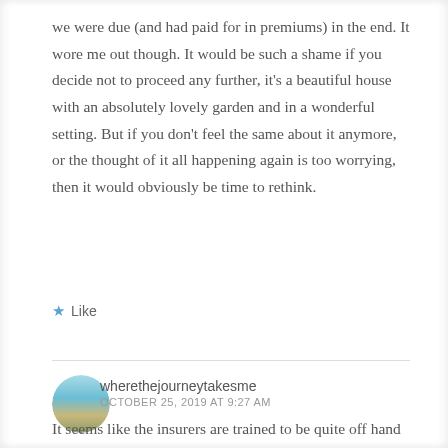we were due (and had paid for in premiums) in the end. It wore me out though. It would be such a shame if you decide not to proceed any further, it's a beautiful house with an absolutely lovely garden and in a wonderful setting. But if you don't feel the same about it anymore, or the thought of it all happening again is too worrying, then it would obviously be time to rethink.
★ Like
wherethejourneytakesme
OCTOBER 25, 2019 AT 9:27 AM
It seems like the insurers are trained to be quite off hand and be able to weadle out of paying up. I am